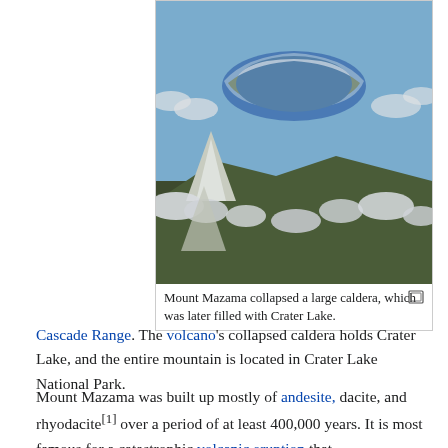[Figure (photo): Aerial photograph of Mount Mazama with Crater Lake visible in the caldera, surrounded by snow-capped rim and clouds]
Mount Mazama collapsed a large caldera, which was later filled with Crater Lake.
Cascade Range. The volcano's collapsed caldera holds Crater Lake, and the entire mountain is located in Crater Lake National Park.
Mount Mazama was built up mostly of andesite, dacite, and rhyodacite[1] over a period of at least 400,000 years. It is most famous for a catastrophic volcanic eruption that occurred around 5,677 B.C.E.[2] The eruption estimated